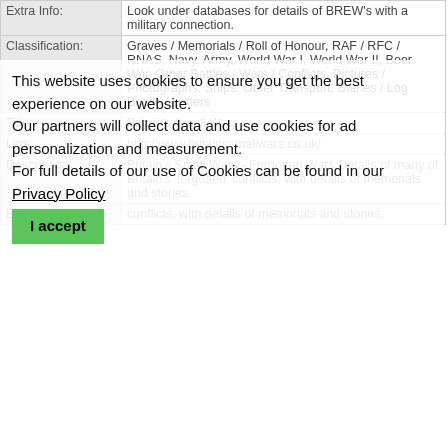| Field | Value |
| --- | --- |
| Extra Info: | Look under databases for details of BREW's with a military connection. |
| Classification: | Graves / Memorials / Roll of Honour, RAF / RFC / RNAS, Navy, Army, World War I, World War II, Boer War, Other Battles / Wars / Conflicts, Pictures / Photographs, Ships, Other Transport, Diaries / Log Books / Letters |
| Title: | Britain's Small Wars |
| Link: | http://www.britainssmallwars.co.uk/ |
| Description: | Britain's Small Wars - Forgotten Wars Details of many of Britain's 'forgotten' conflicts, with details of memorials and stories. |
| Extra Info: | conflicts, with details of memorials and stories. |
This website uses cookies to ensure you get the best experience on our website. Our partners will collect data and use cookies for ad personalization and measurement. For full details of our use of Cookies can be found in our Privacy Policy
| Field | Value |
| --- | --- |
| Classification: | RAF / RFC / RNAS, Navy, Army, Marines, World War I, World War II, Boer Wars, Crimean War, Napoleonic Wars, Other Battles / Wars / Conflicts, Medals / Awards |
| Title: | Britain, Campaign, Gallantry & Long Service Medals & Awards |
| Link: | Britain, Campaign, Gallantry & Long Service Medals & Awards from Find My Past |